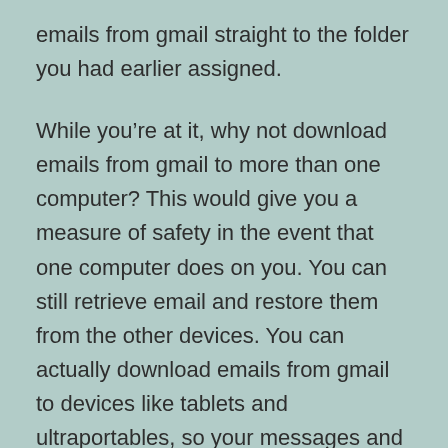emails from gmail straight to the folder you had earlier assigned.
While you're at it, why not download emails from gmail to more than one computer? This would give you a measure of safety in the event that one computer does on you. You can still retrieve email and restore them from the other devices. You can actually download emails from gmail to devices like tablets and ultraportables, so your messages and files are accessible wherever you find yourself.